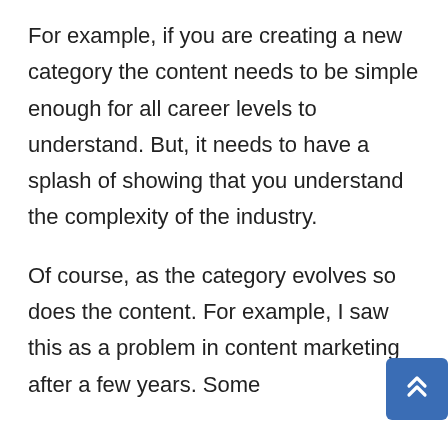For example, if you are creating a new category the content needs to be simple enough for all career levels to understand. But, it needs to have a splash of showing that you understand the complexity of the industry.
Of course, as the category evolves so does the content. For example, I saw this as a problem in content marketing after a few years. Some